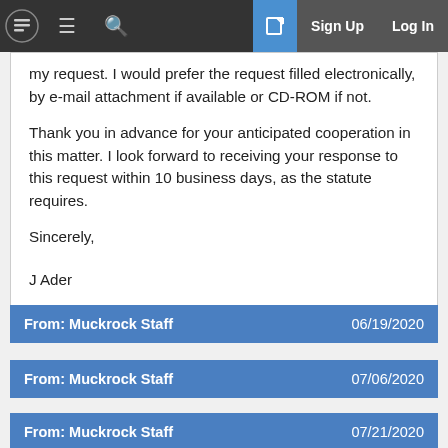MuckRock — Sign Up | Log In
my request. I would prefer the request filled electronically, by e-mail attachment if available or CD-ROM if not.
Thank you in advance for your anticipated cooperation in this matter. I look forward to receiving your response to this request within 10 business days, as the statute requires.
Sincerely,
J Ader
From: Muckrock Staff   06/19/2020
From: Muckrock Staff   07/06/2020
From: Muckrock Staff   07/21/2020